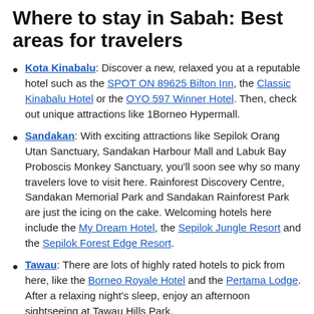Where to stay in Sabah: Best areas for travelers
Kota Kinabalu: Discover a new, relaxed you at a reputable hotel such as the SPOT ON 89625 Bilton Inn, the Classic Kinabalu Hotel or the OYO 597 Winner Hotel. Then, check out unique attractions like 1Borneo Hypermall.
Sandakan: With exciting attractions like Sepilok Orang Utan Sanctuary, Sandakan Harbour Mall and Labuk Bay Proboscis Monkey Sanctuary, you'll soon see why so many travelers love to visit here. Rainforest Discovery Centre, Sandakan Memorial Park and Sandakan Rainforest Park are just the icing on the cake. Welcoming hotels here include the My Dream Hotel, the Sepilok Jungle Resort and the Sepilok Forest Edge Resort.
Tawau: There are lots of highly rated hotels to pick from here, like the Borneo Royale Hotel and the Pertama Lodge. After a relaxing night's sleep, enjoy an afternoon sightseeing at Tawau Hills Park.
Semporna: This place is a vacationer's dream come true, with an abundance of things to do. Start your sightseeing at Semporna Mosque. While you're in the exploring mood, take a look at Bukit Tengkorak and Tropical Research and Conservation Centre too. When it's time to get some shut-eye,